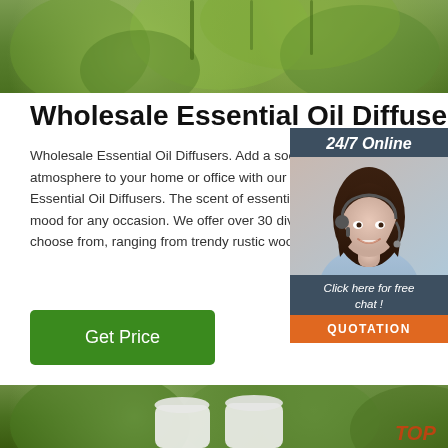[Figure (photo): Blurred green foliage background photo at top of page]
Wholesale Essential Oil Diffusers
Wholesale Essential Oil Diffusers. Add a soothing atmosphere to your home or office with our collection of Essential Oil Diffusers. The scent of essential oils can set the mood for any occasion. We offer over 30 diverse styles to choose from, ranging from trendy rustic wood to …
[Figure (photo): 24/7 Online customer service widget with woman wearing headset, dark blue-grey background with 'Click here for free chat!' text and orange QUOTATION button]
[Figure (photo): Click here for free chat widget area]
[Figure (photo): Bottom photo showing two white essential oil diffusers against green foliage background with TOP logo watermark]